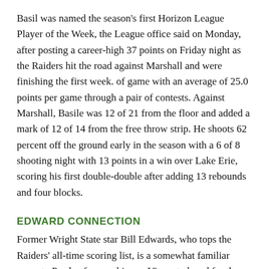Basil was named the season's first Horizon League Player of the Week, the League office said on Monday, after posting a career-high 37 points on Friday night as the Raiders hit the road against Marshall and were finishing the first week. of game with an average of 25.0 points per game through a pair of contests. Against Marshall, Basile was 12 of 21 from the floor and added a mark of 12 of 14 from the free throw strip. He shoots 62 percent off the ground early in the season with a 6 of 8 shooting night with 13 points in a win over Lake Erie, scoring his first double-double after adding 13 rebounds and four blocks.
EDWARD CONNECTION
Former Wright State star Bill Edwards, who tops the Raiders' all-time scoring list, is a somewhat familiar name to Purdue fans, as his son Vincent played for the 2014 Boilermakers. to 2018. Bill Edwards played in the NBA with the Philadelphia 76ers (1993-94) and had a 12-year career in Europe. He was also a member of the US Senior Men's Bronze Medalist team at the 1998 FIBA â€‹â€‹World Championship. He previously appeared at the top of the goals and rebounds lists at Wright State before Love Loudon supplanted it from the rebound